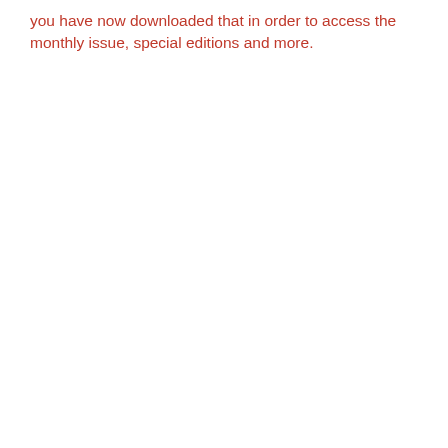you have now downloaded that in order to access the monthly issue, special editions and more.